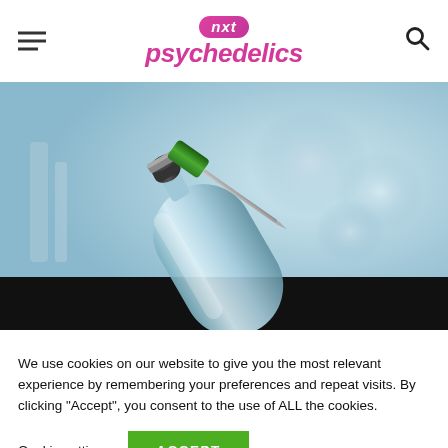[Figure (logo): NXT Psychedelics logo with hamburger menu and search icon in website header]
[Figure (photo): Close-up photo of a medical vial with a syringe needle inserted into it, blue toned laboratory background]
We use cookies on our website to give you the most relevant experience by remembering your preferences and repeat visits. By clicking “Accept”, you consent to the use of ALL the cookies.
Cookie settings   ACCEPT